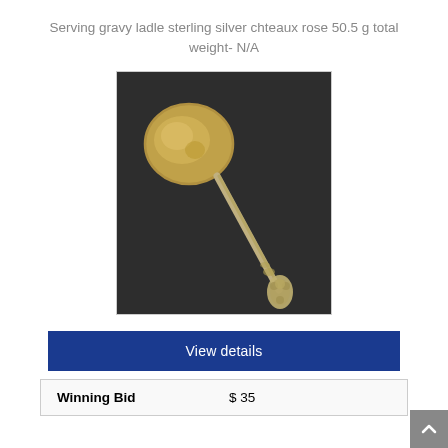Serving gravy ladle sterling silver chteaux rose 50.5 g total weight- N/A
[Figure (photo): Photograph of a sterling silver gravy ladle with a gold-washed round bowl and ornate floral handle (chateaux rose pattern), photographed against a dark background.]
View details
| Winning Bid | $ 35 |
| --- | --- |